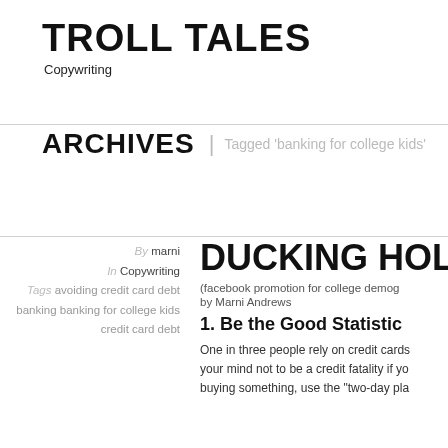TROLL TALES
Copywriting
ARCHIVES | Tagged 'banking for college kids'
By marni
In Copywriting
Tags avoiding credit card debt banking banking for college kids credit card debt
DUCKING HOLID
(facebook promotion for college demog by Marni Andrews
1. Be the Good Statistic
One in three people rely on credit cards your mind not to be a credit fatality if yo buying something, use the "two-day pla